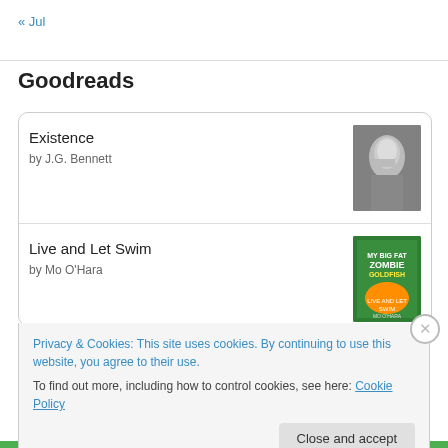« Jul
Goodreads
Existence by J.G. Bennett
Live and Let Swim by Mo O'Hara
Fins of Fury
Privacy & Cookies: This site uses cookies. By continuing to use this website, you agree to their use.
To find out more, including how to control cookies, see here: Cookie Policy
Close and accept